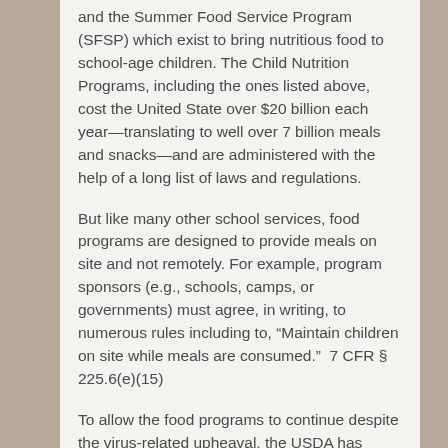and the Summer Food Service Program (SFSP) which exist to bring nutritious food to school-age children. The Child Nutrition Programs, including the ones listed above, cost the United State over $20 billion each year—translating to well over 7 billion meals and snacks—and are administered with the help of a long list of laws and regulations.
But like many other school services, food programs are designed to provide meals on site and not remotely. For example, program sponsors (e.g., schools, camps, or governments) must agree, in writing, to numerous rules including to, "Maintain children on site while meals are consumed."  7 CFR § 225.6(e)(15)
To allow the food programs to continue despite the virus-related upheaval, the USDA has relaxed several rules, including the requirement to have students eat on site. Although some rule waivers are being issued on a state by state or case by case basis, the USDA